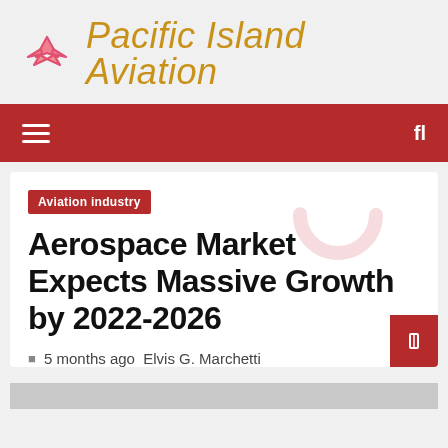Pacific Island Aviation
Aviation industry
Aerospace Market Expects Massive Growth by 2022-2026
5 months ago  Elvis G. Marchetti